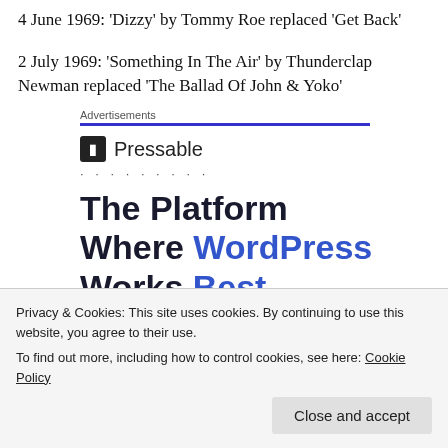4 June 1969: 'Dizzy' by Tommy Roe replaced 'Get Back'
2 July 1969: 'Something In The Air' by Thunderclap Newman replaced 'The Ballad Of John & Yoko'
Advertisements
[Figure (other): Pressable advertisement with logo, dots, and bold text 'The Platform Where WordPress Works Best']
Privacy & Cookies: This site uses cookies. By continuing to use this website, you agree to their use.
To find out more, including how to control cookies, see here: Cookie Policy
Close and accept